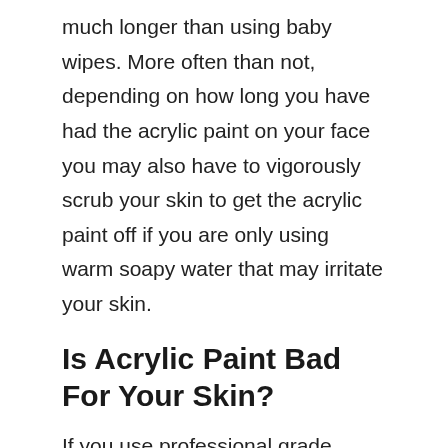much longer than using baby wipes. More often than not, depending on how long you have had the acrylic paint on your face you may also have to vigorously scrub your skin to get the acrylic paint off if you are only using warm soapy water that may irritate your skin.
Is Acrylic Paint Bad For Your Skin?
If you use professional grade acrylic paint then it can contain minerals that do have a slight toxicity to them potentially causing irritation to you if you have sensitive skin. This is why we always recommend that you try to go with non-toxic